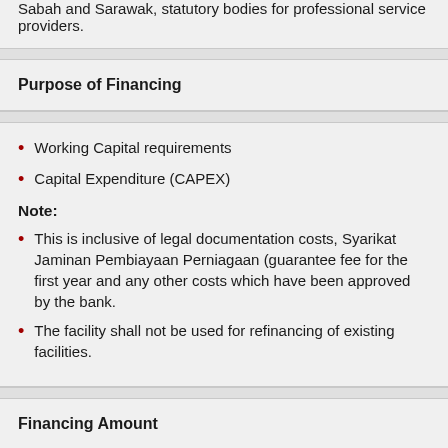Sabah and Sarawak, statutory bodies for professional service providers.
Purpose of Financing
Working Capital requirements
Capital Expenditure (CAPEX)
Note:
This is inclusive of legal documentation costs, Syarikat Jaminan Pembiayaan Perniagaan (guarantee fee for the first year and any other costs which have been approved by the bank.
The facility shall not be used for refinancing of existing facilities.
Financing Amount